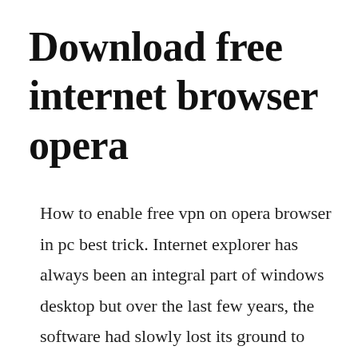Download free internet browser opera
How to enable free vpn on opera browser in pc best trick. Internet explorer has always been an integral part of windows desktop but over the last few years, the software had slowly lost its ground to firefox, opera and chrome. Share files instantly between your desktop and mobile browsers and experience